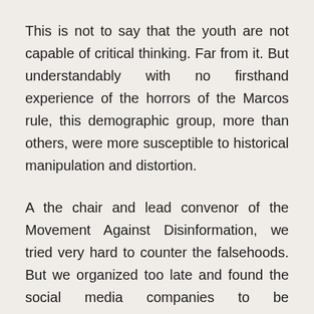This is not to say that the youth are not capable of critical thinking. Far from it. But understandably with no firsthand experience of the horrors of the Marcos rule, this demographic group, more than others, were more susceptible to historical manipulation and distortion.
A the chair and lead convenor of the Movement Against Disinformation, we tried very hard to counter the falsehoods. But we organized too late and found the social media companies to be uncooperative and not pro-active in addressing disinformation. Their profits, resulting from algorithms that incentivized disinformation, could not be sacrificed for the greater good.